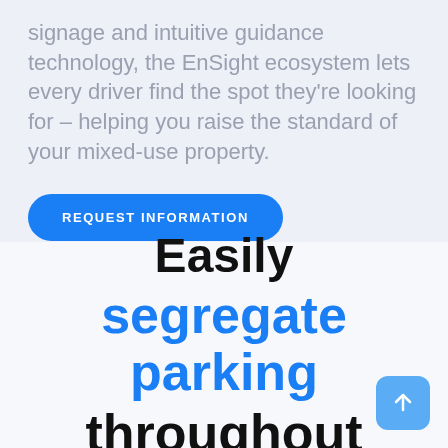signage and intuitive guidance technology, the EnSight ecosystem lets every driver find the spot they're looking for – helping you raise the standard of your mixed-use property.
REQUEST INFORMATION
Easily segregate parking throughout